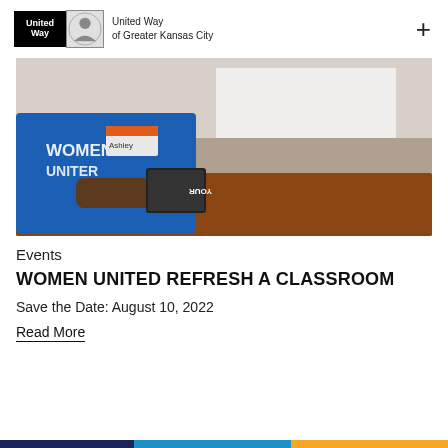United Way of Greater Kansas City
[Figure (photo): Two women wearing blue 'Women United' t-shirts sitting at a wooden table. One woman wears a name badge that says Ashley, and is leaning over a tablet device. The other woman is smiling and holding a card. Background shows a classroom or meeting room setting.]
Events
WOMEN UNITED REFRESH A CLASSROOM
Save the Date: August 10, 2022
Read More